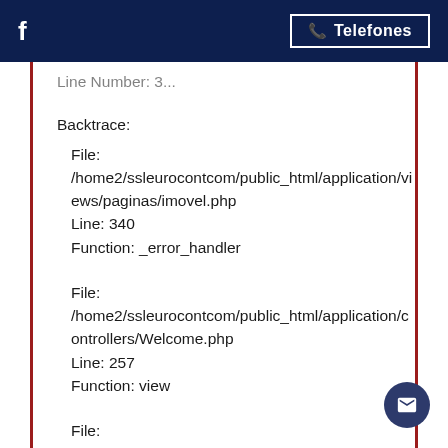f   Telefones
Line Number: 3...
Backtrace:
File:
/home2/ssleurocontcom/public_html/application/views/paginas/imovel.php
Line: 340
Function: _error_handler
File:
/home2/ssleurocontcom/public_html/application/controllers/Welcome.php
Line: 257
Function: view
File:
/home2/ssleurocontcom/public_html/index.php
Line: 3...